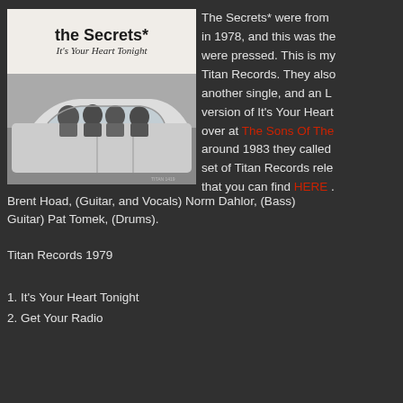[Figure (photo): Album cover for 'the Secrets* - It's Your Heart Tonight' on Titan Records, showing band members in a car in a black and white photo. Titan 1419 label visible.]
The Secrets* were from in 1978, and this was the were pressed. This is my Titan Records. They also another single, and an L version of It's Your Heart over at The Sons Of The around 1983 they called set of Titan Records rele that you can find HERE .
Brent Hoad, (Guitar, and Vocals) Norm Dahlor, (Bass) Guitar) Pat Tomek, (Drums).
Titan Records 1979
1. It's Your Heart Tonight
2. Get Your Radio